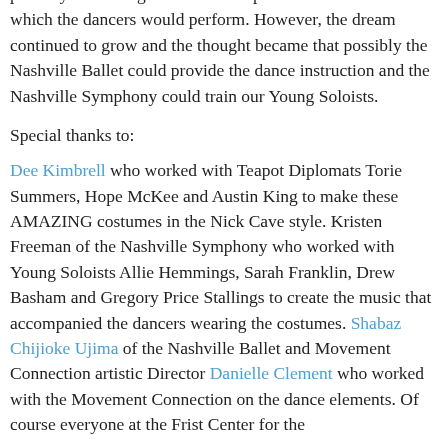possibly our Young Soloists could perform the music to which the dancers would perform. However, the dream continued to grow and the thought became that possibly the Nashville Ballet could provide the dance instruction and the Nashville Symphony could train our Young Soloists.
Special thanks to:
Dee Kimbrell who worked with Teapot Diplomats Torie Summers, Hope McKee and Austin King to make these AMAZING costumes in the Nick Cave style. Kristen Freeman of the Nashville Symphony who worked with Young Soloists Allie Hemmings, Sarah Franklin, Drew Basham and Gregory Price Stallings to create the music that accompanied the dancers wearing the costumes. Shabaz Chijioke Ujima of the Nashville Ballet and Movement Connection artistic Director Danielle Clement who worked with the Movement Connection on the dance elements. Of course everyone at the Frist Center for the